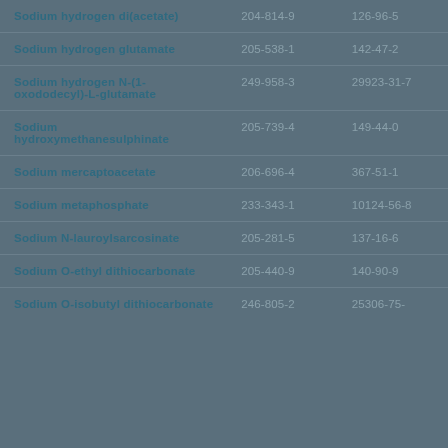| Name | EC Number | CAS Number |
| --- | --- | --- |
| Sodium hydrogen di(acetate) | 204-814-9 | 126-96-5 |
| Sodium hydrogen glutamate | 205-538-1 | 142-47-2 |
| Sodium hydrogen N-(1-oxododecyl)-L-glutamate | 249-958-3 | 29923-31-7 |
| Sodium hydroxymethanesulphinate | 205-739-4 | 149-44-0 |
| Sodium mercaptoacetate | 206-696-4 | 367-51-1 |
| Sodium metaphosphate | 233-343-1 | 10124-56-8 |
| Sodium N-lauroylsarcosinate | 205-281-5 | 137-16-6 |
| Sodium O-ethyl dithiocarbonate | 205-440-9 | 140-90-9 |
| Sodium O-isobutyl dithiocarbonate | 246-805-2 | 25306-75- |